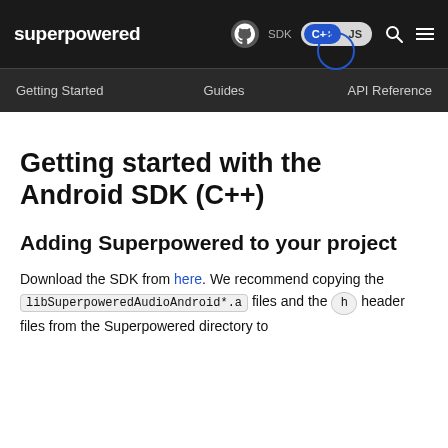superpowered | SDK C++ JS
Getting Started   Guides   API Reference
Getting started with the Android SDK (C++)
Adding Superpowered to your project
Download the SDK from here. We recommend copying the libSuperpoweredAudioAndroid*.a files and the h header files from the Superpowered directory to